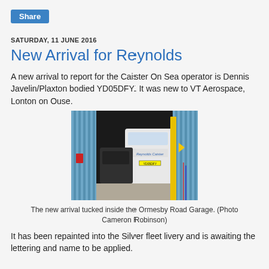Share
SATURDAY, 11 JUNE 2016
New Arrival for Reynolds
A new arrival to report for the Caister On Sea operator is Dennis Javelin/Plaxton bodied YD05DFY. It was new to VT Aerospace, Lonton on Ouse.
[Figure (photo): A bus (white, with Reynolds Caister livery) tucked inside the Ormesby Road Garage, viewed from outside. Blue corrugated cladding on both sides of the garage opening. A yellow arrow visible on the right side.]
The new arrival tucked inside the Ormesby Road Garage. (Photo Cameron Robinson)
It has been repainted into the Silver fleet livery and is awaiting the lettering and name to be applied.